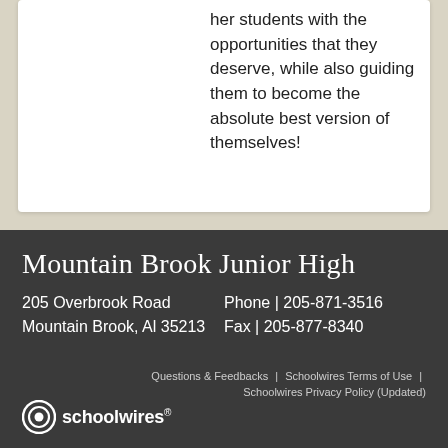her students with the opportunities that they deserve, while also guiding them to become the absolute best version of themselves!
Mountain Brook Junior High
205 Overbrook Road
Phone | 205-871-3516
Mountain Brook, Al 35213
Fax | 205-877-8340
Questions & Feedbacks | Schoolwires Terms of Use | Schoolwires Privacy Policy (Updated)
[Figure (logo): Schoolwires logo with circular icon and text 'schoolwires' with registered trademark symbol]